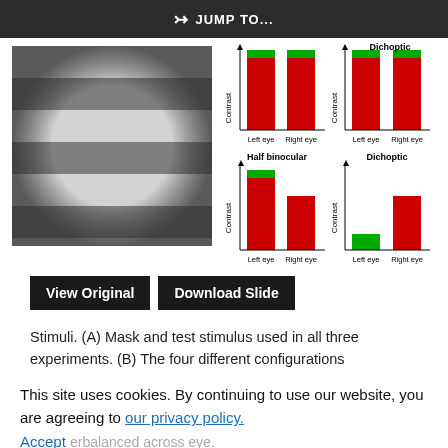JUMP TO...
[Figure (other): Scientific figure showing (A) a sinusoidal grating stimulus image on the left, and (B) four bar charts showing Contrast for Left eye and Right eye under four conditions: Binocular, Dichoptic (top), Half binocular, and Dichoptic (bottom). Bars are colored red (mask) and green (test).]
View Original   Download Slide
Stimuli. (A) Mask and test stimulus used in all three experiments. (B) The four different configurations of the stimulus (red) and (green)
This site uses cookies. By continuing to use our website, you are agreeing to our privacy policy. Accept